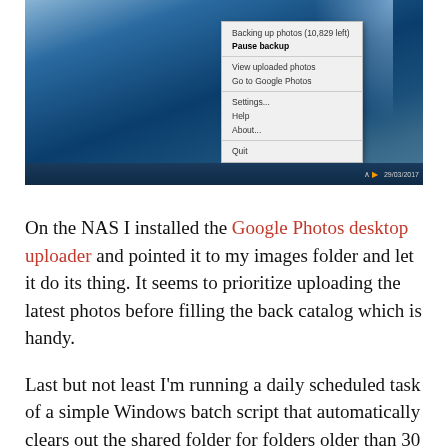[Figure (screenshot): Windows desktop screenshot showing a blue desktop background with a context menu popup from the system tray. The context menu shows: 'Backing up photos (10,829 left)', 'Pause backup', 'View uploaded photos', 'Go to Google Photos', 'Settings...', 'Help', 'About...', 'Quit'. The taskbar is visible at the bottom with the time 29/03/2017.]
On the NAS I installed the Google Photos desktop uploader and pointed it to my images folder and let it do its thing. It seems to prioritize uploading the latest photos before filling the back catalog which is handy.
Last but not least I'm running a daily scheduled task of a simple Windows batch script that automatically clears out the shared folder for folders older than 30 days so it